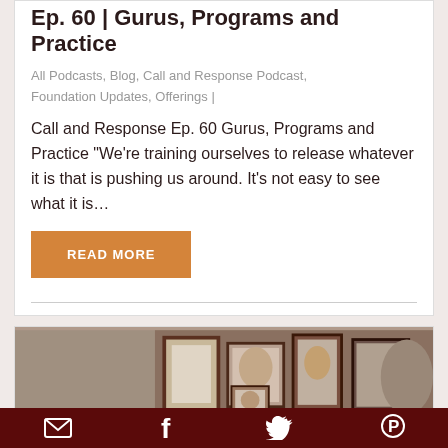Ep. 60 | Gurus, Programs and Practice
All Podcasts, Blog, Call and Response Podcast, Foundation Updates, Offerings |
Call and Response Ep. 60 Gurus, Programs and Practice “We’re training ourselves to release whatever it is that is pushing us around. It’s not easy to see what it is…
READ MORE
[Figure (photo): A collection of framed photographs arranged on a surface, showing various people in portrait-style photos in brown/dark wooden frames.]
Email | Facebook | Twitter | Pinterest